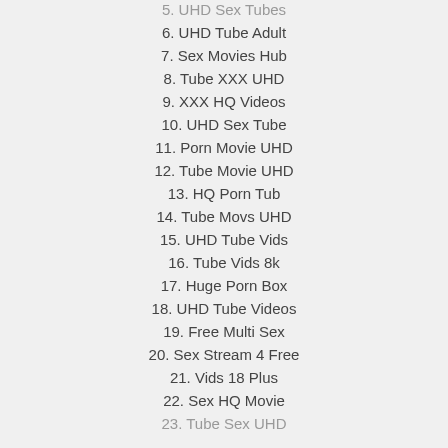5. UHD Sex Tubes
6. UHD Tube Adult
7. Sex Movies Hub
8. Tube XXX UHD
9. XXX HQ Videos
10. UHD Sex Tube
11. Porn Movie UHD
12. Tube Movie UHD
13. HQ Porn Tub
14. Tube Movs UHD
15. UHD Tube Vids
16. Tube Vids 8k
17. Huge Porn Box
18. UHD Tube Videos
19. Free Multi Sex
20. Sex Stream 4 Free
21. Vids 18 Plus
22. Sex HQ Movie
23. Tube Sex UHD